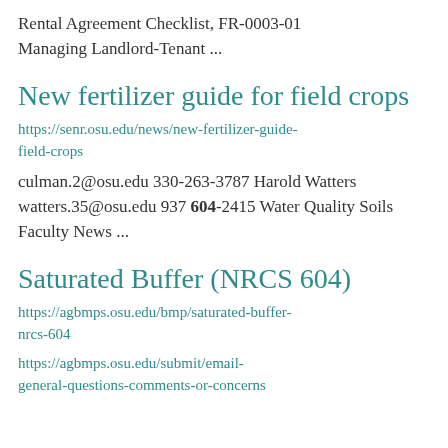Rental Agreement Checklist, FR-0003-01 Managing Landlord-Tenant ...
New fertilizer guide for field crops
https://senr.osu.edu/news/new-fertilizer-guide-field-crops
culman.2@osu.edu 330-263-3787 Harold Watters watters.35@osu.edu 937 604-2415 Water Quality Soils Faculty News ...
Saturated Buffer (NRCS 604)
https://agbmps.osu.edu/bmp/saturated-buffer-nrcs-604
https://agbmps.osu.edu/submit/email-general-questions-comments-or-concerns